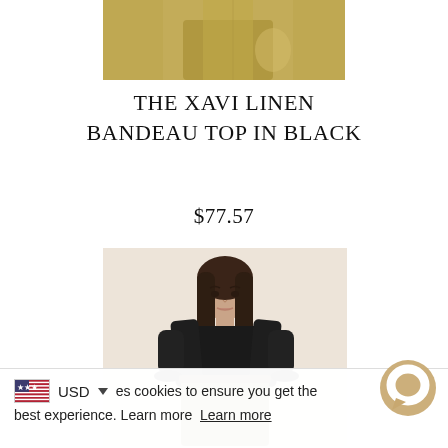[Figure (photo): Partial product image at top showing olive/khaki colored fabric or clothing item]
THE XAVI LINEN BANDEAU TOP IN BLACK
$77.57
[Figure (photo): Woman with long dark hair wearing a black linen bandeau top and olive/khaki midi skirt, posed against a light pink/blush background]
USD ▼  es cookies to ensure you get the best experience. Learn more  Learn more